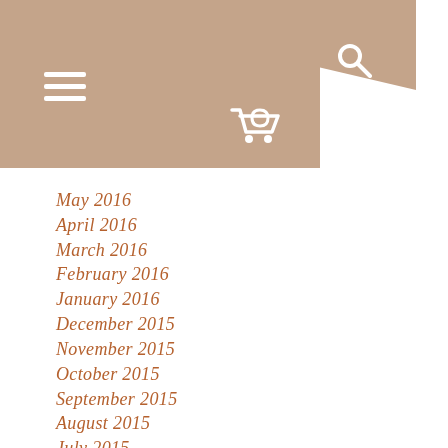[Figure (screenshot): Website navigation header with brown/tan background, hamburger menu icon (three horizontal white lines), search icon, and shopping cart icon]
May 2016
April 2016
March 2016
February 2016
January 2016
December 2015
November 2015
October 2015
September 2015
August 2015
July 2015
June 2015
May 2015
April 2015
March 2015
February 2015
January 2015
December 2014